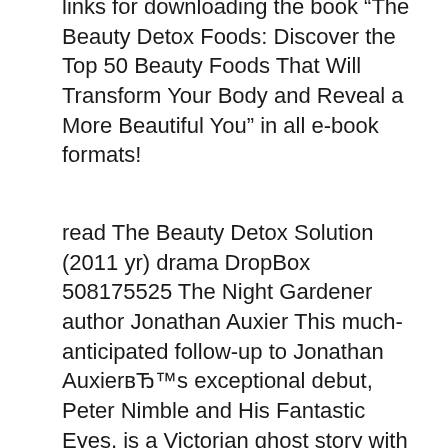links for downloading the book "The Beauty Detox Foods: Discover the Top 50 Beauty Foods That Will Transform Your Body and Reveal a More Beautiful You" in all e-book formats!
read The Beauty Detox Solution (2011 yr) drama DropBox 508175525 The Night Gardener author Jonathan Auxier This much-anticipated follow-up to Jonathan AuxierвЂ™s exceptional debut, Peter Nimble and His Fantastic Eyes, is a Victorian ghost story with shades of Washington Irving and Henry James. 03/12/2015В В· Of course not. Best of all, if after reading an e-book, you buy a paper version of The Beauty Detox Power: Nourish Your Mind and